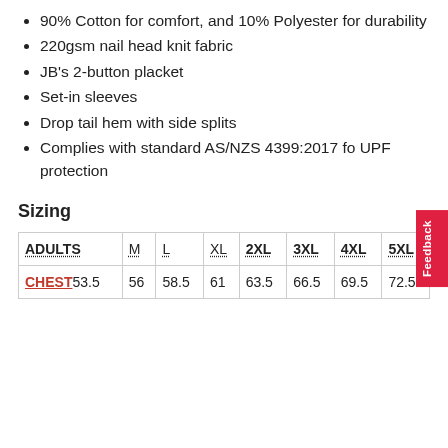90% Cotton for comfort, and 10% Polyester for durability
220gsm nail head knit fabric
JB’s 2-button placket
Set-in sleeves
Drop tail hem with side splits
Complies with standard AS/NZS 4399:2017 for UPF protection
Sizing
| ADULTS | M | L | XL | 2XL | 3XL | 4XL | 5XL |
| --- | --- | --- | --- | --- | --- | --- | --- |
| CHEST | 53.5 | 56 | 58.5 | 61 | 63.5 | 66.5 | 69.5 | 72.5 |